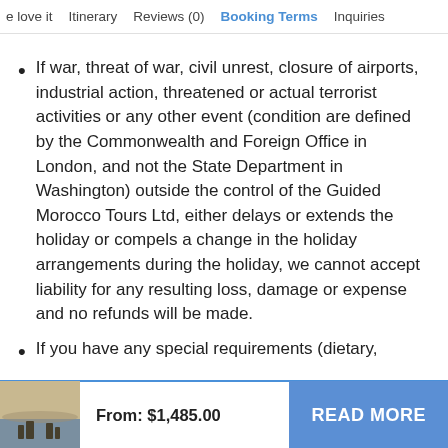e love it   Itinerary   Reviews (0)   Booking Terms   Inquiries
If war, threat of war, civil unrest, closure of airports, industrial action, threatened or actual terrorist activities or any other event (condition are defined by the Commonwealth and Foreign Office in London, and not the State Department in Washington) outside the control of the Guided Morocco Tours Ltd, either delays or extends the holiday or compels a change in the holiday arrangements during the holiday, we cannot accept liability for any resulting loss, damage or expense and no refunds will be made.
If you have any special requirements (dietary,
From: $1,485.00
READ MORE